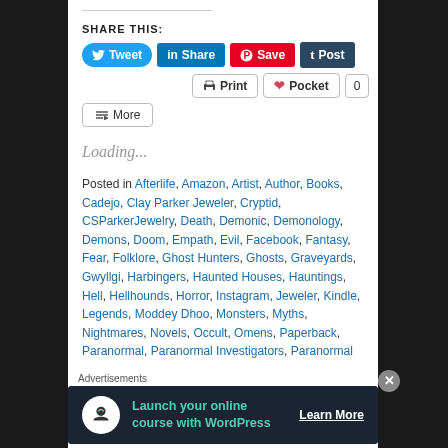SHARE THIS:
[Figure (screenshot): Social share buttons: Tweet (Twitter/blue), Share (LinkedIn/blue), Save (Pinterest/red), Post (Tumblr/dark navy)]
[Figure (screenshot): Second row of share buttons: Print and Pocket with count 0]
[Figure (screenshot): More button with share icon]
Loading...
Posted in Afterlife, Amazon, Artist, Author, Books, Cadejo, Clay Parker Jeweler, Cryptid, CSParkerJewelry, Death, Demonic, Demonology, Demons, Doom, Empath, Evil, Facebook, Fantasy, Fear, Folklore, Ghost Hunters, Ghosts, Graveyards, Gwyllgi, Harbingers, Haunted Houses, Hauntings, Hell, Hellhounds, Horror, Instagram, Jeweler, Kindle, Legends, Moddey Dhoo, Monsters, Myths, Nightmares, Novels, Occult, Omens, Paperback, Paranormal, Paranormal Investigators, Paranormal
Advertisements
[Figure (screenshot): Advertisement banner: Launch your online course with WordPress - Learn More]